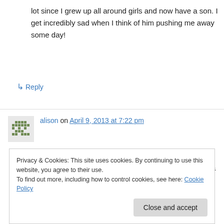lot since I grew up all around girls and now have a son. I get incredibly sad when I think of him pushing me away some day!
↳ Reply
alison on April 9, 2013 at 7:22 pm
i'm so not ready for my baby boy to start to pull away from me. he's five now…and will drop me in a hot second if he hears his daddy crank up
Privacy & Cookies: This site uses cookies. By continuing to use this website, you agree to their use.
To find out more, including how to control cookies, see here: Cookie Policy
Close and accept